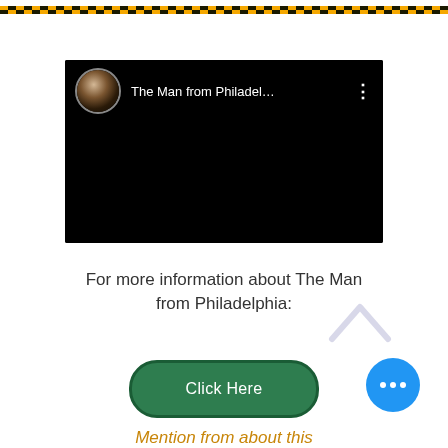[Figure (screenshot): Decorative checkered top bar with gold and dark pattern]
[Figure (screenshot): Embedded video player with black background showing profile avatar and title 'The Man from Philadel...' with three-dot menu icon]
For more information about The Man from Philadelphia:
[Figure (illustration): Light purple/lavender upward chevron arrow icon]
Click Here
[Figure (illustration): Blue circle with three white dots (more options button)]
Mention from about this